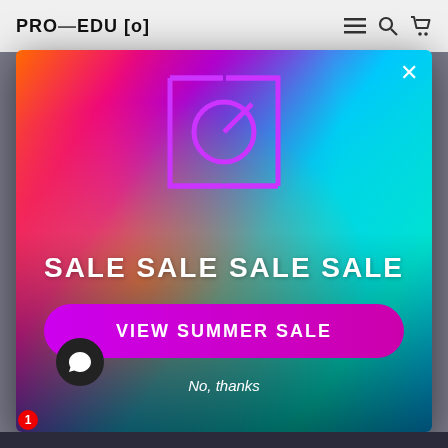PRO-EDU [o]
[Figure (screenshot): Website screenshot showing PRO-EDU header with navigation icons (hamburger menu, search, cart) on a light background, with a modal popup overlay featuring a colorful neon-lit woman model photo, a PRO-EDU bracket logo, the text SALE SALE SALE SALE, a magenta VIEW SUMMER SALE button, a No, thanks link, and a chat bubble with a red notification badge showing 1.]
SALE SALE SALE SALE
VIEW SUMMER SALE
No, thanks